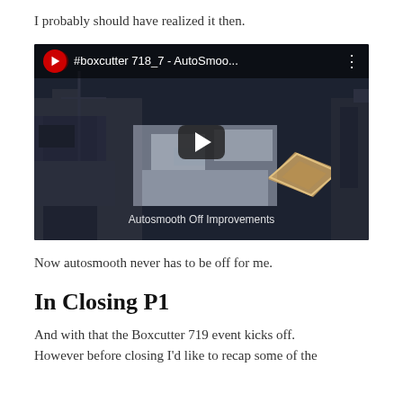I probably should have realized it then.
[Figure (screenshot): YouTube video thumbnail showing an aerial view of a 3D-modeled industrial/urban scene with cranes and buildings. Title bar reads '#boxcutter 718_7 - AutoSmoo...' with a play button in the center and subtitle 'Autosmooth Off Improvements'.]
Now autosmooth never has to be off for me.
In Closing P1
And with that the Boxcutter 719 event kicks off. However before closing I'd like to recap some of the